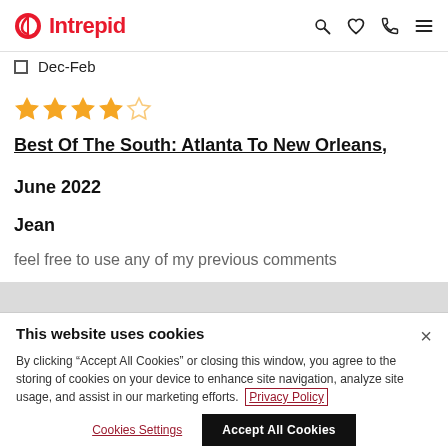Intrepid
Dec-Feb
[Figure (other): 4 out of 5 star rating]
Best Of The South: Atlanta To New Orleans, June 2022
Jean
feel free to use any of my previous comments
This website uses cookies
By clicking "Accept All Cookies" or closing this window, you agree to the storing of cookies on your device to enhance site navigation, analyze site usage, and assist in our marketing efforts. Privacy Policy
Cookies Settings | Accept All Cookies